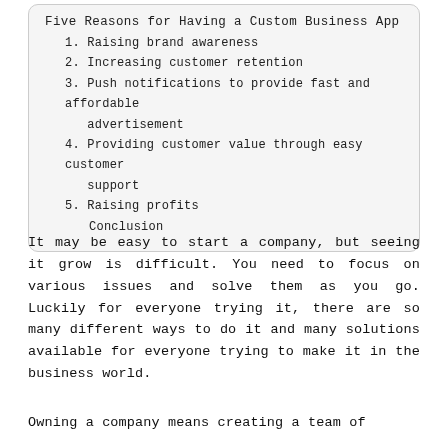Five Reasons for Having a Custom Business App
1. Raising brand awareness
2. Increasing customer retention
3. Push notifications to provide fast and affordable advertisement
4. Providing customer value through easy customer support
5. Raising profits
Conclusion
It may be easy to start a company, but seeing it grow is difficult. You need to focus on various issues and solve them as you go. Luckily for everyone trying it, there are so many different ways to do it and many solutions available for everyone trying to make it in the business world.
Owning a company means creating a team of